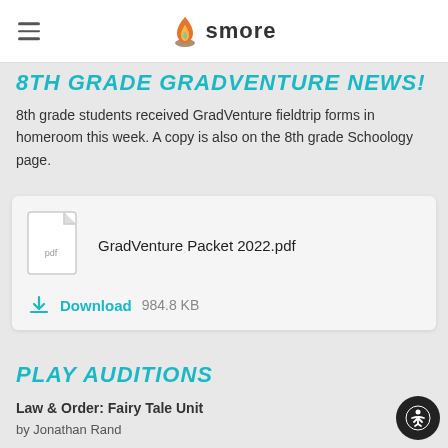smore
8TH GRADE GRADVENTURE NEWS!
8th grade students received GradVenture fieldtrip forms in homeroom this week. A copy is also on the 8th grade Schoology page.
[Figure (other): PDF file attachment card showing GradVenture Packet 2022.pdf with a download link and file size of 984.8 KB]
PLAY AUDITIONS
Law & Order: Fairy Tale Unit
by Jonathan Rand